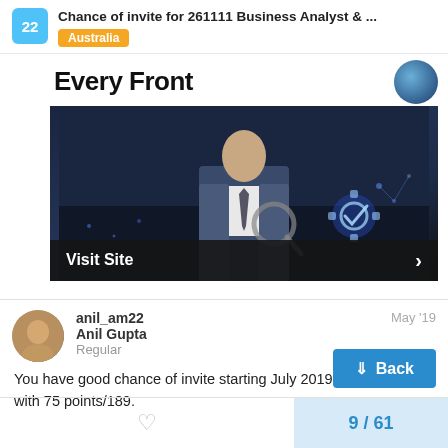Chance of invite for 261111 Business Analyst & ... Australia
[Figure (screenshot): Advertisement image showing a businessman in a suit with digital technology overlay, with 'Every Front' heading text and a 'Visit Site' button at the bottom]
anil_am22
Anil Gupta
Regular
May '19
You have good chance of invite starting July 2019 for BA 261111 with 75 points/189.
9 / 61